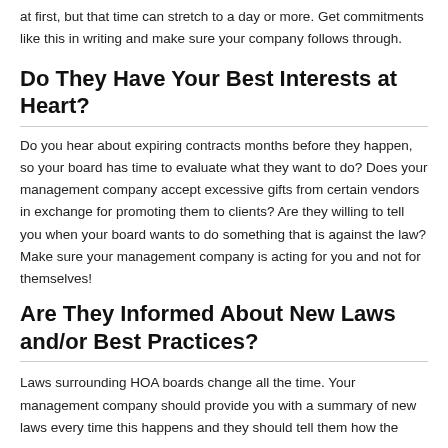at first, but that time can stretch to a day or more. Get commitments like this in writing and make sure your company follows through.
Do They Have Your Best Interests at Heart?
Do you hear about expiring contracts months before they happen, so your board has time to evaluate what they want to do? Does your management company accept excessive gifts from certain vendors in exchange for promoting them to clients? Are they willing to tell you when your board wants to do something that is against the law? Make sure your management company is acting for you and not for themselves!
Are They Informed About New Laws and/or Best Practices?
Laws surrounding HOA boards change all the time. Your management company should provide you with a summary of new laws every time this happens and they should tell them how the